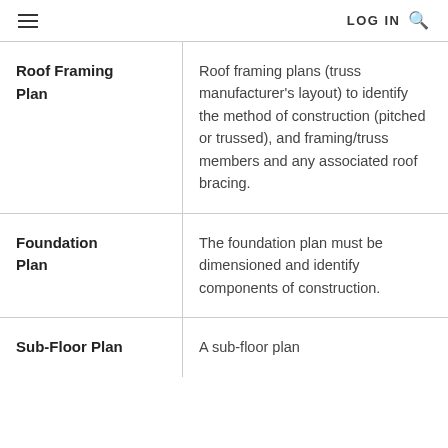LOG IN
| Plan Type | Description |
| --- | --- |
| Roof Framing Plan | Roof framing plans (truss manufacturer's layout) to identify the method of construction (pitched or trussed), and framing/truss members and any associated roof bracing. |
| Foundation Plan | The foundation plan must be dimensioned and identify components of construction. |
| Sub-Floor Plan | A sub-floor plan identifies the qualities... |